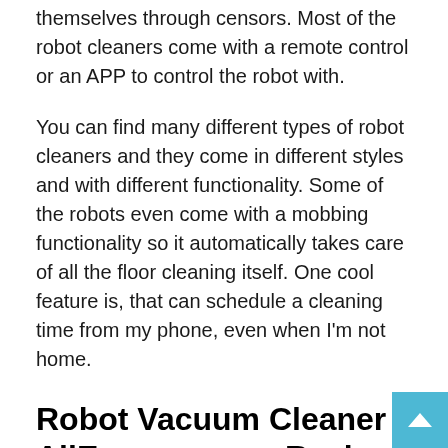themselves through censors. Most of the robot cleaners come with a remote control or an APP to control the robot with.
You can find many different types of robot cleaners and they come in different styles and with different functionality. Some of the robots even come with a mobbing functionality so it automatically takes care of all the floor cleaning itself. One cool feature is, that can schedule a cleaning time from my phone, even when I'm not home.
Robot Vacuum Cleaner AliExpress.com Review
My robot vacuum cleaner has four cleaning functions. A side-brush sweeping that easily catches the dust on the sides of the corner and obstacles. A Central-brush vacuuming that